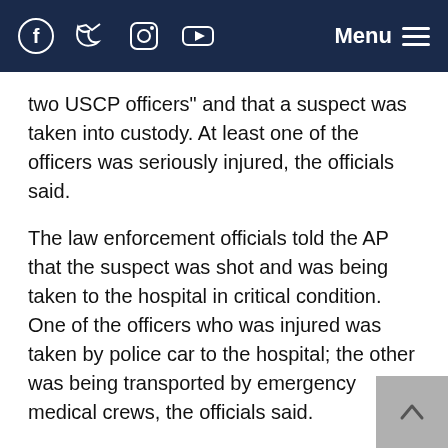Menu [navigation icons: Facebook, Twitter, Instagram, YouTube]
two USCP officers" and that a suspect was taken into custody. At least one of the officers was seriously injured, the officials said.
The law enforcement officials told the AP that the suspect was shot and was being taken to the hospital in critical condition. One of the officers who was injured was taken by police car to the hospital; the other was being transported by emergency medical crews, the officials said.
The officials could not discuss the matter publicly and spoke to the AP on condition of anonymity.
The U.S. Capitol complex was placed on lockdown after the shooting and staff were told they could not enter or